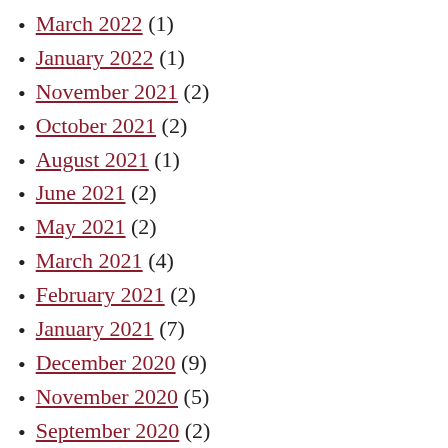March 2022 (1)
January 2022 (1)
November 2021 (2)
October 2021 (2)
August 2021 (1)
June 2021 (2)
May 2021 (2)
March 2021 (4)
February 2021 (2)
January 2021 (7)
December 2020 (9)
November 2020 (5)
September 2020 (2)
August 2020 (4)
July 2020 (8)
June 2020 (13)